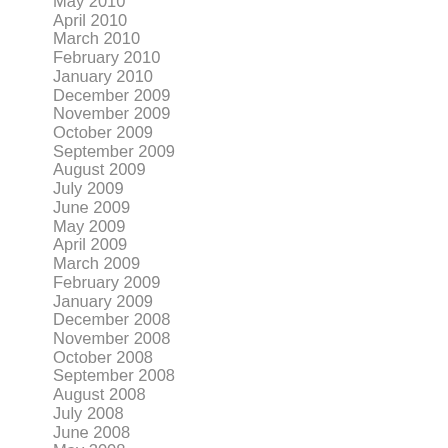May 2010
April 2010
March 2010
February 2010
January 2010
December 2009
November 2009
October 2009
September 2009
August 2009
July 2009
June 2009
May 2009
April 2009
March 2009
February 2009
January 2009
December 2008
November 2008
October 2008
September 2008
August 2008
July 2008
June 2008
May 2008
April 2008
March 2008
February 2008
January 2008